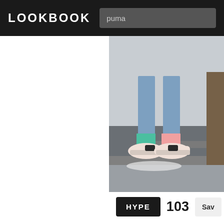LOOKBOOK
puma
[Figure (photo): Close-up photo of someone standing on wooden steps wearing light pink/beige Puma sneakers with colorful socks and blue jeans.]
HYPE  103  Save
1  Sweater [external link]
H&M in H&M Sweaters
2  Jeans [external link]
Levi's® in Levi's® Jeans
3  Sneaker [external link]
Puma in Puma Sneakers
4  Socks
Happy Socks in Socks